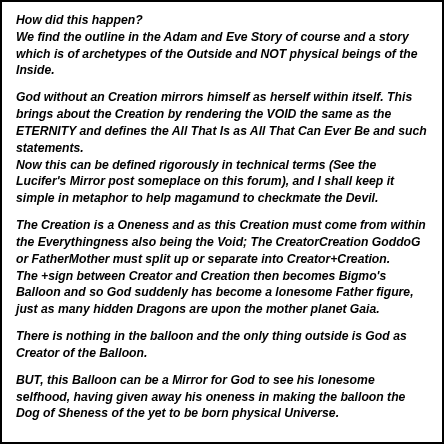How did this happen?
We find the outline in the Adam and Eve Story of course and a story which is of archetypes of the Outside and NOT physical beings of the Inside.
God without an Creation mirrors himself as herself within itself. This brings about the Creation by rendering the VOID the same as the ETERNITY and defines the All That Is as All That Can Ever Be and such statements.
Now this can be defined rigorously in technical terms (See the Lucifer's Mirror post someplace on this forum), and I shall keep it simple in metaphor to help magamund to checkmate the Devil.
The Creation is a Oneness and as this Creation must come from within the Everythingness also being the Void; The CreatorCreation GoddoG or FatherMother must split up or separate into Creator+Creation.
The +sign between Creator and Creation then becomes Bigmo's Balloon and so God suddenly has become a lonesome Father figure, just as many hidden Dragons are upon the mother planet Gaia.
There is nothing in the balloon and the only thing outside is God as Creator of the Balloon.
BUT, this Balloon can be a Mirror for God to see his lonesome selfhood, having given away his oneness in making the balloon the Dog of Sheness of the yet to be born physical Universe.